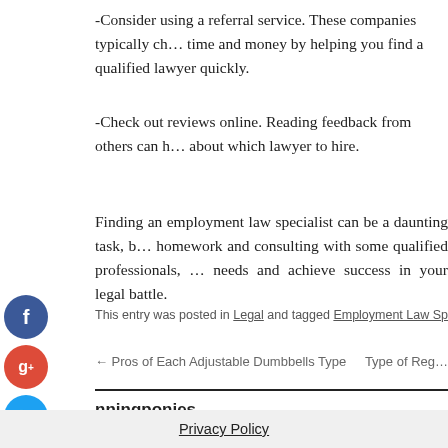-Consider using a referral service. These companies typically ch… time and money by helping you find a qualified lawyer quickly.
-Check out reviews online. Reading feedback from others can h… about which lawyer to hire.
Finding an employment law specialist can be a daunting task, b… homework and consulting with some qualified professionals, … needs and achieve success in your legal battle.
This entry was posted in Legal and tagged Employment Law Specialist, Law …
← Pros of Each Adjustable Dumbbells Type    Type of Reg…
nningponies
Privacy Policy